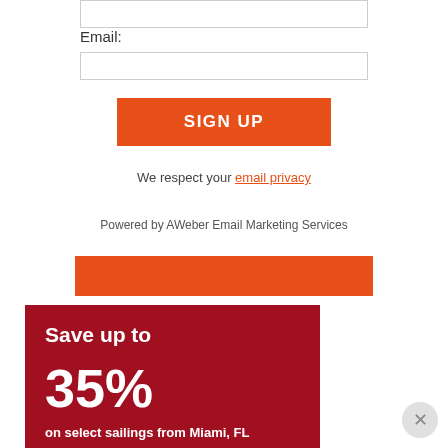Email:
SIGN UP
We respect your email privacy
Powered by AWeber Email Marketing Services
[Figure (other): Orange horizontal banner bar]
[Figure (infographic): Dark red promotional banner reading 'Save up to 35% on select sailings from Miami, FL' with white bold text, partially reflected below]